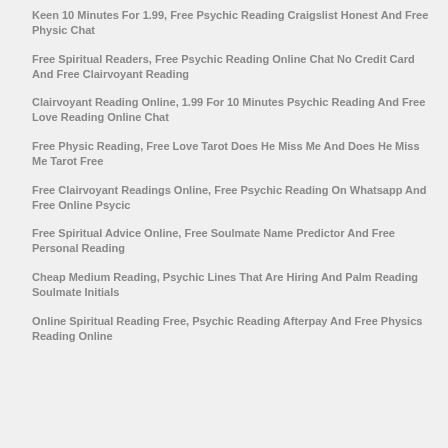Keen 10 Minutes For 1.99, Free Psychic Reading Craigslist Honest And Free Physic Chat
Free Spiritual Readers, Free Psychic Reading Online Chat No Credit Card And Free Clairvoyant Reading
Clairvoyant Reading Online, 1.99 For 10 Minutes Psychic Reading And Free Love Reading Online Chat
Free Physic Reading, Free Love Tarot Does He Miss Me And Does He Miss Me Tarot Free
Free Clairvoyant Readings Online, Free Psychic Reading On Whatsapp And Free Online Psycic
Free Spiritual Advice Online, Free Soulmate Name Predictor And Free Personal Reading
Cheap Medium Reading, Psychic Lines That Are Hiring And Palm Reading Soulmate Initials
Online Spiritual Reading Free, Psychic Reading Afterpay And Free Physics Reading Online